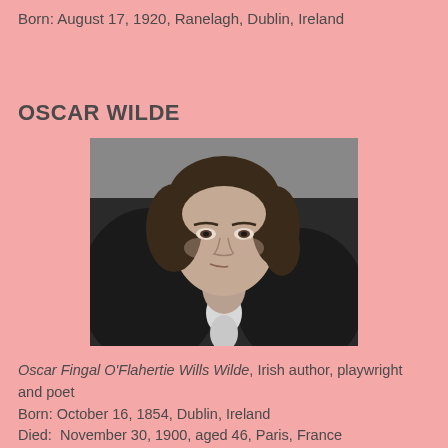Born: August 17, 1920, Ranelagh, Dublin, Ireland
OSCAR WILDE
[Figure (photo): Black and white portrait photograph of Oscar Wilde, a young man with curly dark hair, resting his chin/hand near his face, wearing a dark fur-collared coat with a white shirt.]
Oscar Fingal O'Flahertie Wills Wilde, Irish author, playwright and poet
Born: October 16, 1854, Dublin, Ireland
Died:  November 30, 1900, aged 46, Paris, France